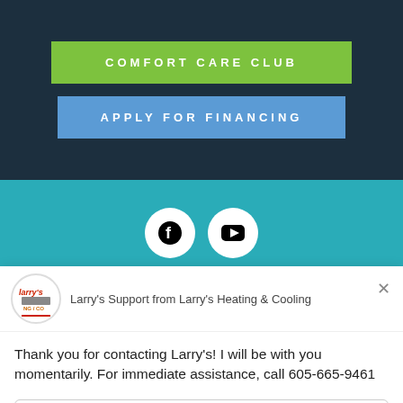COMFORT CARE CLUB
APPLY FOR FINANCING
[Figure (logo): Facebook icon circle and YouTube icon circle on teal background]
[Figure (logo): Larry's Heating & Cooling circular logo avatar]
Larry's Support from Larry's Heating & Cooling
Thank you for contacting Larry's! I will be with you momentarily. For immediate assistance, call 605-665-9461
Reply to Larry's Support
Chat ⚡ by Drift